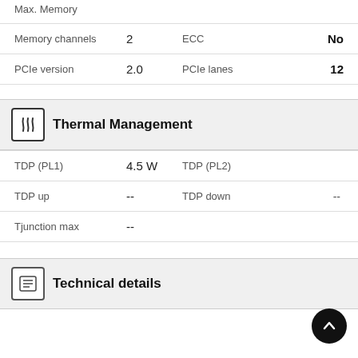Max. Memory
| Memory channels | 2 | ECC | No |
| PCIe version | 2.0 | PCIe lanes | 12 |
Thermal Management
| TDP (PL1) | 4.5 W | TDP (PL2) |  |
| TDP up | -- | TDP down | -- |
| Tjunction max | -- |  |  |
Technical details